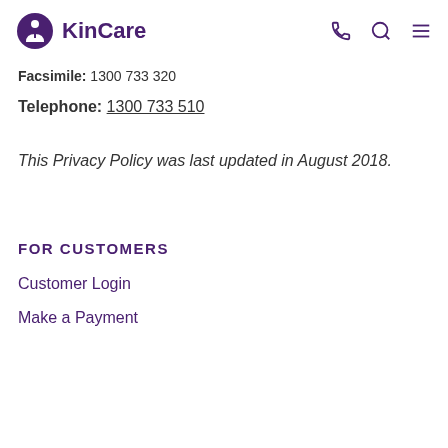KinCare
Facsimile: 1300 733 320
Telephone: 1300 733 510
This Privacy Policy was last updated in August 2018.
FOR CUSTOMERS
Customer Login
Make a Payment